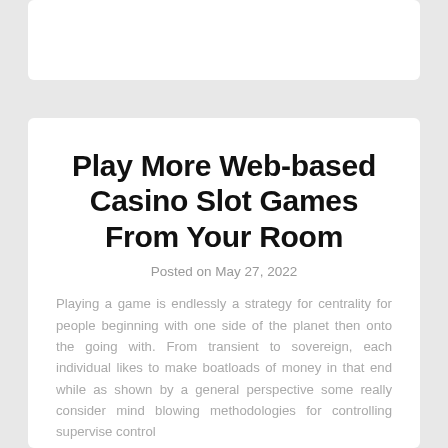Play More Web-based Casino Slot Games From Your Room
Posted on May 27, 2022
Playing a game is endlessly a strategy for centrality for people beginning with one side of the planet then onto the going with. From transient to sovereign, each individual likes to make boatloads of money in that end while as shown by a general perspective some really consider mind blowing methodologies for controlling supervise control